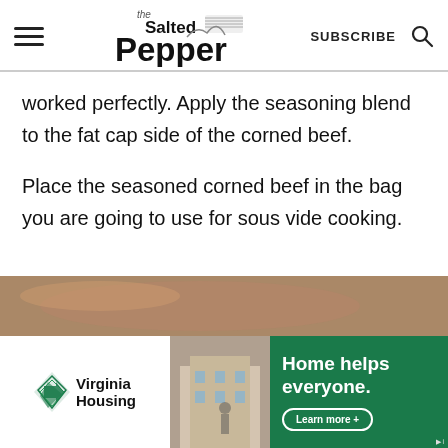the Salted Pepper | SUBSCRIBE
worked perfectly. Apply the seasoning blend to the fat cap side of the corned beef.
Place the seasoned corned beef in the bag you are going to use for sous vide cooking.
[Figure (photo): Partial view of food photo at bottom of page, partially obscured by advertisement. Advertisement banner for Virginia Housing: 'Home helps everyone. Learn more +' with green background and building photo.]